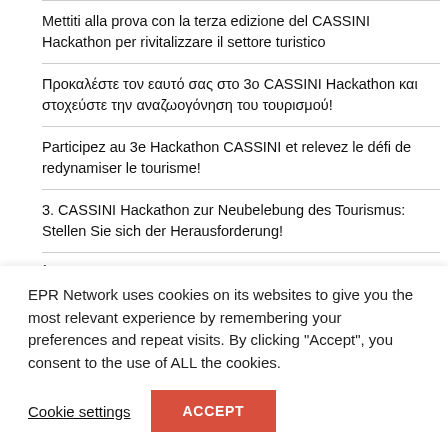Mettiti alla prova con la terza edizione del CASSINI Hackathon per rivitalizzare il settore turistico
Προκαλέστε τον εαυτό σας στο 3ο CASSINI Hackathon και στοχεύστε την αναζωογόνηση του τουρισμού!
Participez au 3e Hackathon CASSINI et relevez le défi de redynamiser le tourisme!
3. CASSINI Hackathon zur Neubelebung des Tourismus: Stellen Sie sich der Herausforderung!
Írd újra Európa turizmusát a 3. CASSINI Hackathonon!
EPR Network uses cookies on its websites to give you the most relevant experience by remembering your preferences and repeat visits. By clicking "Accept", you consent to the use of ALL the cookies.
Cookie settings
ACCEPT